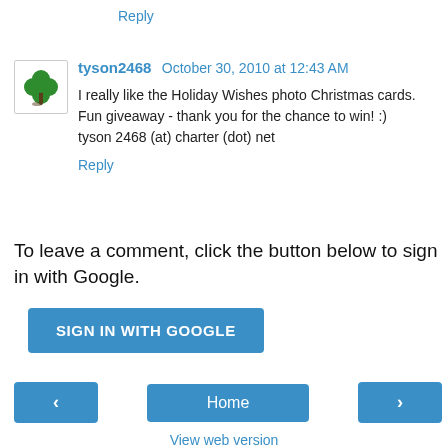Reply
tyson2468  October 30, 2010 at 12:43 AM
I really like the Holiday Wishes photo Christmas cards. Fun giveaway - thank you for the chance to win! :)
tyson 2468 (at) charter (dot) net
Reply
To leave a comment, click the button below to sign in with Google.
SIGN IN WITH GOOGLE
‹  Home  ›
View web version
Susan Cook